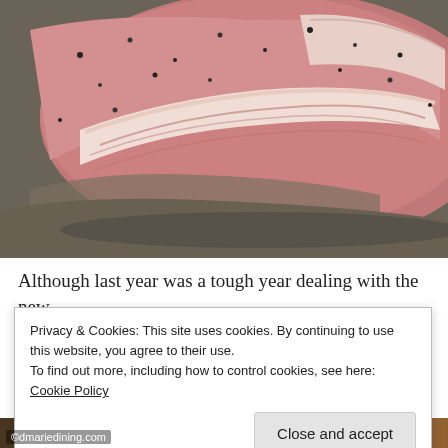[Figure (photo): Close-up photo of a raw seasoned beef brisket or similar cut of meat with black pepper on a dark surface]
Although last year was a tough year dealing with the new
Privacy & Cookies: This site uses cookies. By continuing to use this website, you agree to their use.
To find out more, including how to control cookies, see here: Cookie Policy
Close and accept
[Figure (photo): Bottom strip of a food photo, partially visible]
©dmariedining.com